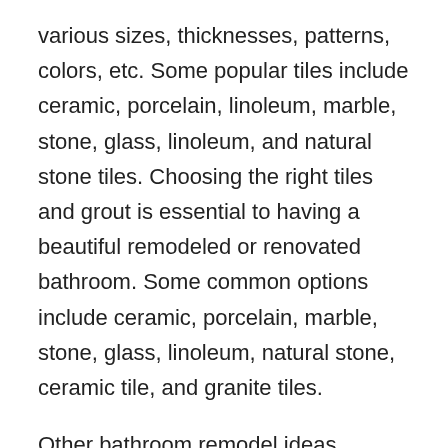various sizes, thicknesses, patterns, colors, etc. Some popular tiles include ceramic, porcelain, linoleum, marble, stone, glass, linoleum, and natural stone tiles. Choosing the right tiles and grout is essential to having a beautiful remodeled or renovated bathroom. Some common options include ceramic, porcelain, marble, stone, glass, linoleum, natural stone, ceramic tile, and granite tiles.
Other bathroom remodel ideas include choosing the right color palette for the flooring, painting the walls, purchasing accessories, painting the bathtub and other fixtures, and installing other features like a sauna, fireplace, bidet, etc. Also, there are many other features you can incorporate into your bathrooms to help you with your overall theme. For example, if you are looking for bathroom ideas to create a spa environment, you can choose a bamboo shower curtain, a low flow shower door, light fittings, shower tray, and a hand held shower device. You can also create an atmosphere for a "men's" room by adding